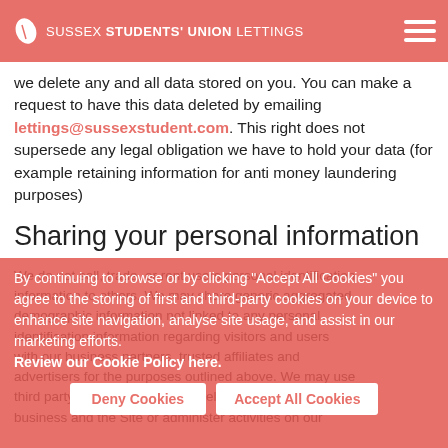SUSSEX STUDENTS' UNION LETTINGS
we delete any and all data stored on you. You can make a request to have this data deleted by emailing lettings@sussexstudent.com. This right does not supersede any legal obligation we have to hold your data (for example retaining information for anti money laundering purposes)
Sharing your personal information
We do not sell, trade, or rent users personal identification information to others. We may share generic aggregated demographic information not linked to any personal identification information regarding visitors and users with our business partners, trusted affiliates and advertisers for the purposes outlined above. We may use third party service providers to help us operate our business and the Site or administer activities on our
By continuing to browse or by clicking "Accept All Cookies" you agree to the storing of first and third-party cookies on your device to enhance site navigation, analyse site usage, and assist in our marketing efforts.
Review our Cookie Policy here.
Deny Cookies | Accept All Cookies